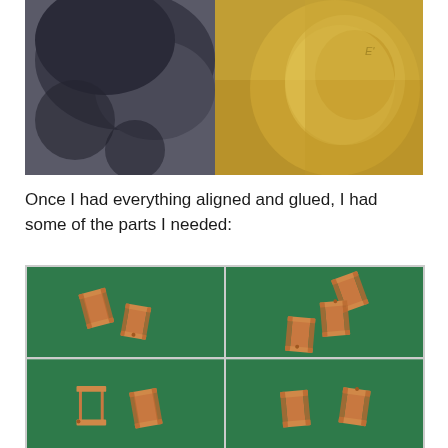[Figure (photo): Close-up photo showing a blurry dark object on the left and a shiny brass/gold metallic circular object on the right, against a grey background.]
Once I had everything aligned and glued, I had some of the parts I needed:
[Figure (photo): Four photos arranged in a 2x2 grid, each showing small copper/bronze colored bracket or clip parts resting on a green surface. Top-left shows two parts, top-right shows three parts, bottom-left shows two parts, bottom-right shows two parts.]